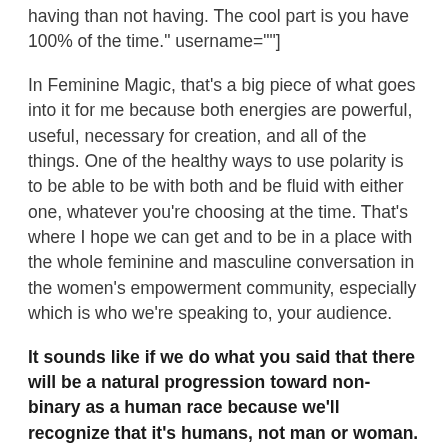having than not having. The cool part is you have 100% of the time." username=""]
In Feminine Magic, that's a big piece of what goes into it for me because both energies are powerful, useful, necessary for creation, and all of the things. One of the healthy ways to use polarity is to be able to be with both and be fluid with either one, whatever you're choosing at the time. That's where I hope we can get and to be in a place with the whole feminine and masculine conversation in the women's empowerment community, especially which is who we're speaking to, your audience.
It sounds like if we do what you said that there will be a natural progression toward non-binary as a human race because we'll recognize that it's humans, not man or woman. If what you said is the way we go, it would eliminate conversations about homosexuality, heterosexuality, or transgender. We